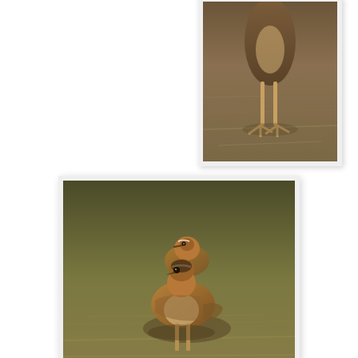[Figure (photo): Partial view of a bird (likely Dotterel) on dry grassland, showing lower body and legs, cropped at top of page]
[Figure (photo): Two Dotterel birds on dry grassy moorland, one in foreground facing camera and one behind, brown and buff plumage]
The two Dotterel re-appeared today, on Meoness whilst Kittiwakes were observed collecting nesting material and a Raven was seen carrying a Razorbill egg.
David Parnaby at 17:55   No comments: